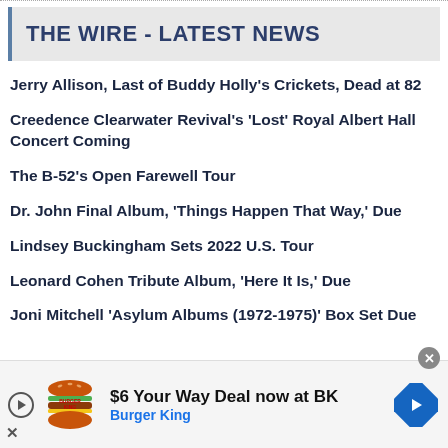THE WIRE - LATEST NEWS
Jerry Allison, Last of Buddy Holly's Crickets, Dead at 82
Creedence Clearwater Revival's 'Lost' Royal Albert Hall Concert Coming
The B-52's Open Farewell Tour
Dr. John Final Album, 'Things Happen That Way,' Due
Lindsey Buckingham Sets 2022 U.S. Tour
Leonard Cohen Tribute Album, 'Here It Is,' Due
Joni Mitchell 'Asylum Albums (1972-1975)' Box Set Due
[Figure (screenshot): Burger King advertisement banner: '$6 Your Way Deal now at BK' with Burger King logo and blue diamond arrow icon]